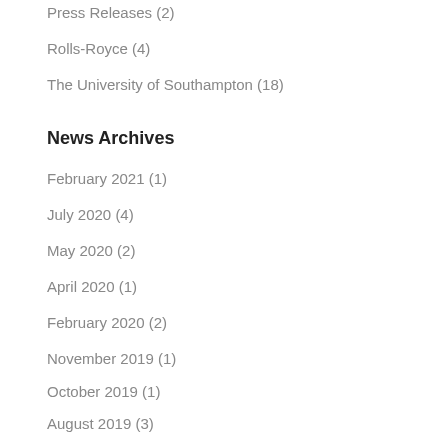Press Releases (2)
Rolls-Royce (4)
The University of Southampton (18)
News Archives
February 2021 (1)
July 2020 (4)
May 2020 (2)
April 2020 (1)
February 2020 (2)
November 2019 (1)
October 2019 (1)
August 2019 (3)
July 2019 (1)
June 2019 (2)